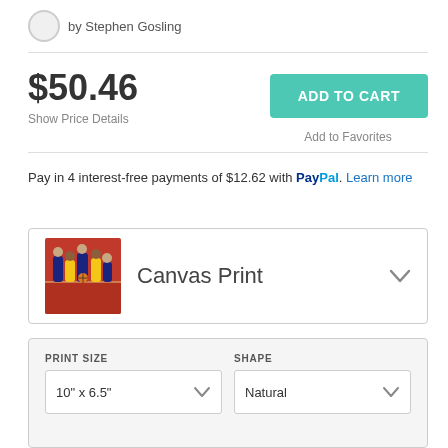by Stephen Gosling
$50.46
Show Price Details
ADD TO CART
Add to Favorites
Pay in 4 interest-free payments of $12.62 with PayPal. Learn more
Canvas Print
PRINT SIZE
10" x 6.5"
SHAPE
Natural